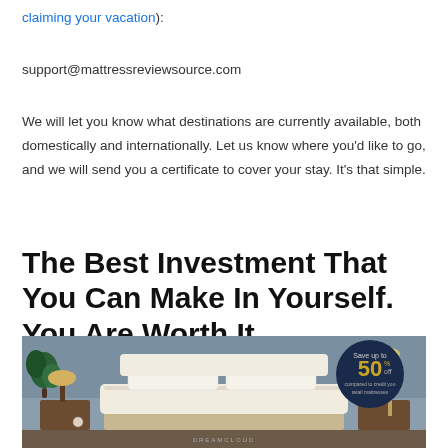claiming your vacation):
support@mattressreviewsource.com
We will let you know what destinations are currently available, both domestically and internationally. Let us know where you’d like to go, and we will send you a certificate to cover your stay. It’s that simple.
The Best Investment That You Can Make In Yourself. You Are Worth It.
[Figure (photo): Bedroom scene with a DreamCloud mattress on a bed with white pillows, a lamp and plant on the left, nightstands, and a dark navy circular badge on the right reading 'Save up to 50% off compared to credit you retail mattresses']